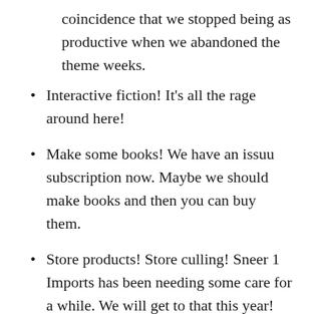coincidence that we stopped being as productive when we abandoned the theme weeks.
Interactive fiction! It's all the rage around here!
Make some books! We have an issuu subscription now. Maybe we should make books and then you can buy them.
Store products! Store culling! Sneer 1 Imports has been needing some care for a while. We will get to that this year!
More recurring content! Much like